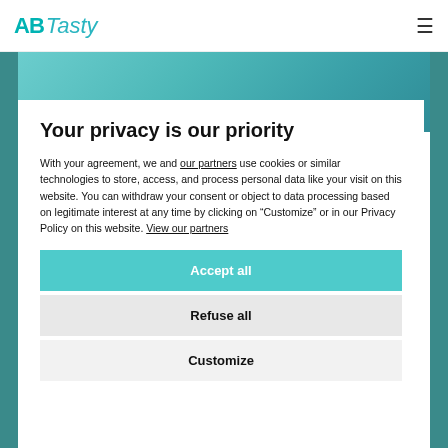AB Tasty
Your privacy is our priority
With your agreement, we and our partners use cookies or similar technologies to store, access, and process personal data like your visit on this website. You can withdraw your consent or object to data processing based on legitimate interest at any time by clicking on "Customize" or in our Privacy Policy on this website. View our partners
Accept all
Refuse all
Customize